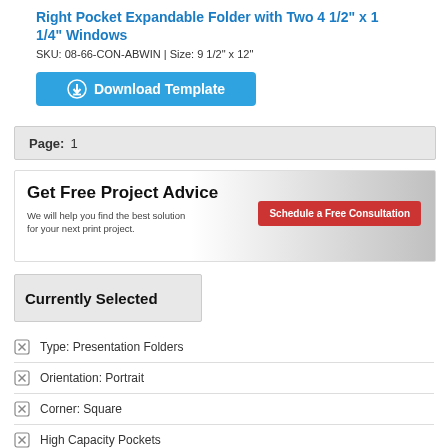Right Pocket Expandable Folder with Two 4 1/2" x 1 1/4" Windows
SKU: 08-66-CON-ABWIN | Size: 9 1/2" x 12"
[Figure (other): Download Template button with download icon]
Page: 1
[Figure (other): Ad banner: Get Free Project Advice - We will help you find the best solution for your next print project. Schedule a Free Consultation button.]
Currently Selected
Type: Presentation Folders
Orientation: Portrait
Corner: Square
High Capacity Pockets
Windows